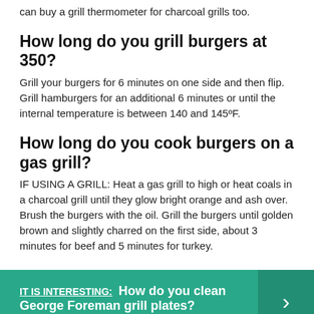can buy a grill thermometer for charcoal grills too.
How long do you grill burgers at 350?
Grill your burgers for 6 minutes on one side and then flip. Grill hamburgers for an additional 6 minutes or until the internal temperature is between 140 and 145ºF.
How long do you cook burgers on a gas grill?
IF USING A GRILL: Heat a gas grill to high or heat coals in a charcoal grill until they glow bright orange and ash over. Brush the burgers with the oil. Grill the burgers until golden brown and slightly charred on the first side, about 3 minutes for beef and 5 minutes for turkey.
[Figure (infographic): Teal callout box with text 'IT IS INTERESTING: How do you clean George Foreman grill plates?' and a right-pointing chevron arrow on a darker teal background on the right side.]
How long should Burgers be on the grill?